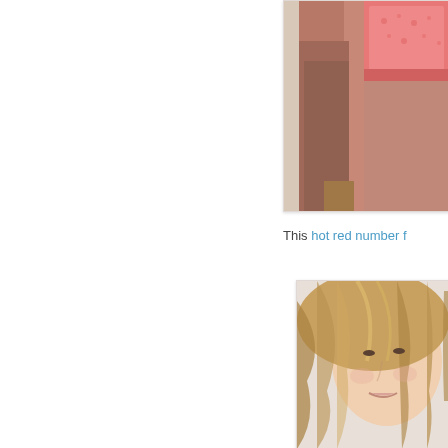[Figure (photo): Cropped photo of a woman's torso wearing a pink/coral lace bra, right side of page, top portion]
This hot red number f
[Figure (photo): Cropped photo of a woman with long wavy blonde-brown hair, smiling slightly, right side of page, bottom portion]